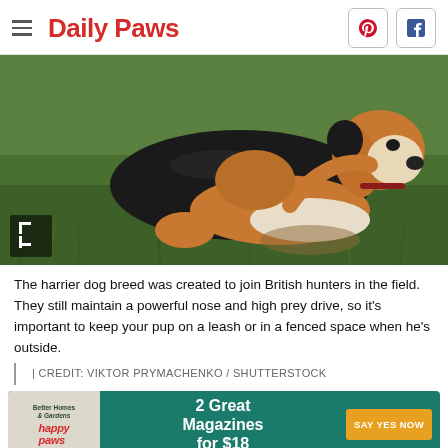Daily Paws
[Figure (photo): A beagle/harrier dog lying on grass, scratching its neck/ear with its hind leg, wearing a red collar. Green grass background.]
The harrier dog breed was created to join British hunters in the field. They still maintain a powerful nose and high prey drive, so it's important to keep your pup on a leash or in a fenced space when he's outside.
| CREDIT: VIKTOR PRYMACHENKO / SHUTTERSTOCK
[Figure (infographic): Advertisement banner for Better Homes & Gardens and Happy Paws magazines. Teal background. Text: 2 Great Magazines for $18. Orange button: SAY YES NOW.]
Since